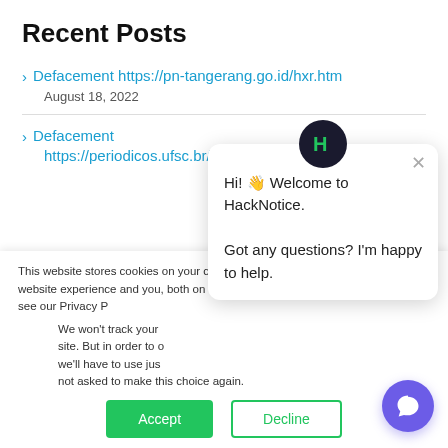Recent Posts
Defacement https://pn-tangerang.go.id/hxr.htm
August 18, 2022
Defacement https://periodicos.ufsc.br/public/site/images/katib/katib.g
This website stores cookies on your computer. These are used to improve your website experience you, both on this website and through cookies we use, see our Privacy P
We won't track your site. But in order to we'll have to use jus not asked to make this choice again.
[Figure (screenshot): HackNotice chat popup with message: Hi! Welcome to HackNotice. Got any questions? I'm happy to help.]
Accept | Decline